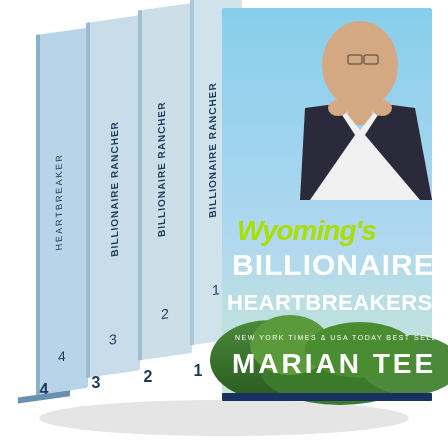[Figure (illustration): Book box set cover for 'Wyoming's Billionaire Heartbreakers' by Marian Tee (New York Times & USA Today Best Selling Author). The front cover shows a man in a suit adjusting his lapels against a blue sky background, with the series title in large white and yellow-green text. Four book spines are visible on the left side numbered 1-4: Book 1 'Secret Lover - Billionaire Rancher', Book 2 'Secret Crush - Billionaire Rancher', Book 3 'Heartless - Billionaire Rancher', Book 4 'Billionaire Rancher Heartbreaker'. Green tree foliage is visible in the lower portion.]